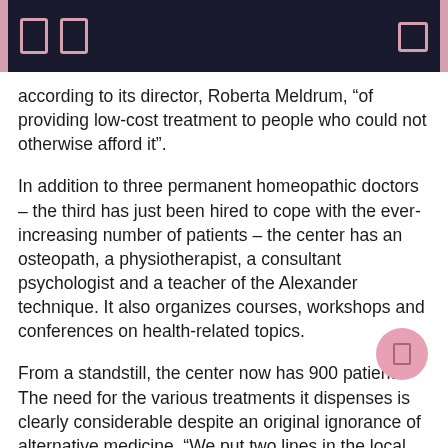according to its director, Roberta Meldrum, “of providing low-cost treatment to people who could not otherwise afford it”.
In addition to three permanent homeopathic doctors – the third has just been hired to cope with the ever-increasing number of patients – the center has an osteopath, a physiotherapist, a consultant psychologist and a teacher of the Alexander technique. It also organizes courses, workshops and conferences on health-related topics.
From a standstill, the center now has 900 patients. The need for the various treatments it dispenses is clearly considerable despite an original ignorance of alternative medicine. “We put two lines in the local paper saying ‘Help for back sufferers’, and that night alone there were 23 messages on the answering machine, before the tape ran out. Some of the callers couldn’t even pronounce the word